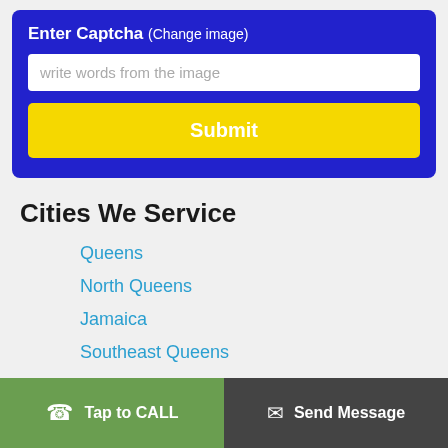Enter Captcha (Change image)
write words from the image
Submit
Cities We Service
Queens
North Queens
Jamaica
Southeast Queens
Southwest Queens
Rockaways
Tap to CALL   Send Message